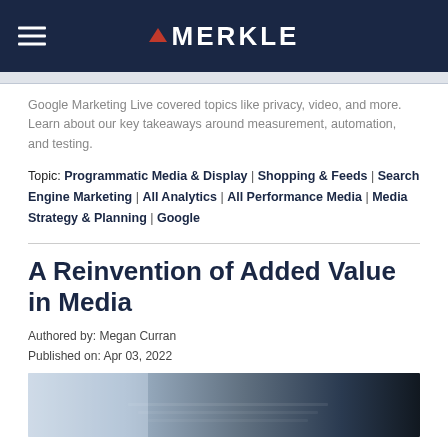MERKLE
Google Marketing Live covered topics like privacy, video, and more. Learn about our key takeaways around measurement, automation, and testing.
Topic: Programmatic Media & Display | Shopping & Feeds | Search Engine Marketing | All Analytics | All Performance Media | Media Strategy & Planning | Google
A Reinvention of Added Value in Media
Authored by: Megan Curran
Published on: Apr 03, 2022
[Figure (photo): Partial photo of a laptop or device keyboard, dark and blue toned, partially visible at bottom of page]